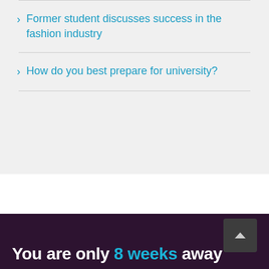Former student discusses success in the fashion industry
How do you best prepare for university?
You are only 8 weeks away